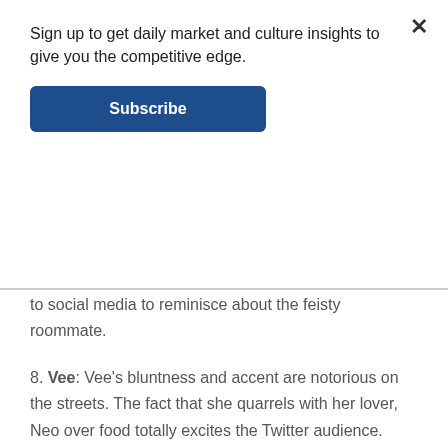Sign up to get daily market and culture insights to give you the competitive edge.
Subscribe
to social media to reminisce about the feisty roommate.
8. Vee: Vee's bluntness and accent are notorious on the streets. The fact that she quarrels with her lover, Neo over food totally excites the Twitter audience.
9. Neo: The Big Brother housemate, Neo, is a conversationalist. His relationship with Vee is often tumultuous to watch, and this consistently